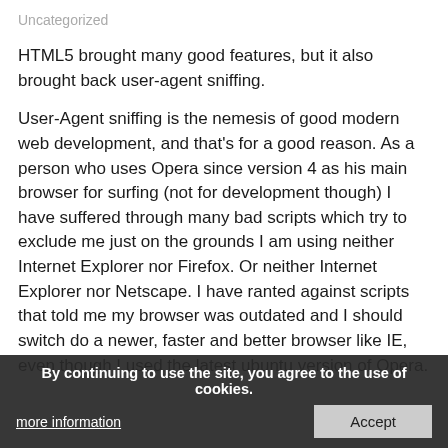Uncategorized
HTML5 brought many good features, but it also brought back user-agent sniffing.
User-Agent sniffing is the nemesis of good modern web development, and that’s for a good reason. As a person who uses Opera since version 4 as his main browser for surfing (not for development though) I have suffered through many bad scripts which try to exclude me just on the grounds I am using neither Internet Explorer nor Firefox. Or neither Internet Explorer nor Netscape. I have ranted against scripts that told me my browser was outdated and I should switch do a newer, faster and better browser like IE, even though I used the latest ubuntu version of Opera.
User-Agent sniffing dates back to when browser vendors extended their browsers with features like the marquee element (I hope you noticed the sarcasm) and web developers had to find out, if they could use these.
By continuing to use the site, you agree to the use of cookies.
more information
Accept